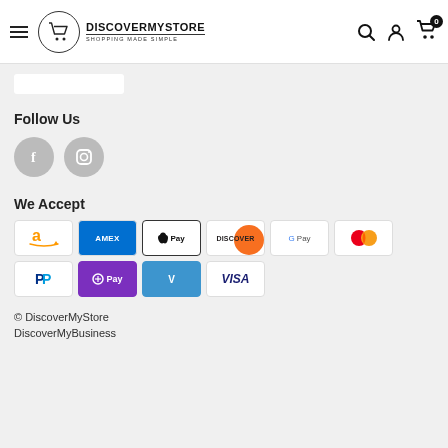DiscoverMyStore — Shopping Made Simple
[Figure (logo): DiscoverMyStore logo with shopping cart icon in circle, text DISCOVERMYSTORE SHOPPING MADE SIMPLE]
Follow Us
[Figure (illustration): Facebook and Instagram social media icons as gray circles]
We Accept
[Figure (illustration): Payment method icons: Amazon, Amex, Apple Pay, Discover, Google Pay, Mastercard, PayPal, OPay, Venmo, Visa]
© DiscoverMyStore
DiscoverMyBusiness